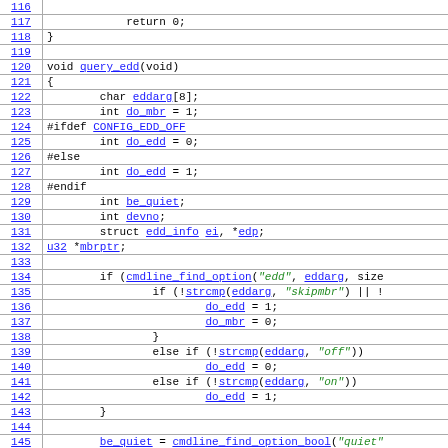[Figure (screenshot): Source code listing showing lines 116-146 of a C source file, with line numbers in blue underlined on the left column, and code content with blue underlined identifiers and green italic string literals on the right.]